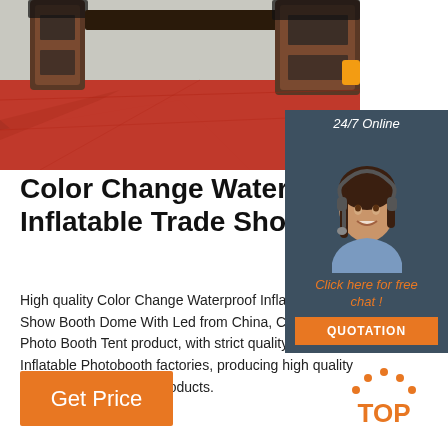[Figure (photo): Red inflatable trade show booth structure on red floor mat outdoors]
[Figure (photo): 24/7 online customer service panel with woman wearing headset, click here for free chat link, and QUOTATION button]
Color Change Waterproof Inflatable Trade Show Bo...
High quality Color Change Waterproof Inflatable Trade Show Booth Dome With Led from China, China's leading Photo Booth Tent product, with strict quality control Inflatable Photobooth factories, producing high quality Inflatable Photobooth products.
[Figure (logo): TOP icon with orange dotted arch above the word TOP in orange]
Get Price